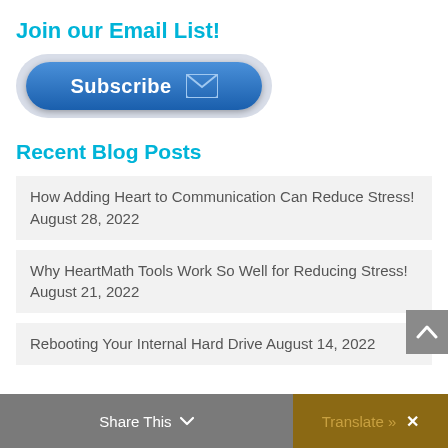Join our Email List!
[Figure (illustration): Blue Subscribe button with envelope icon, inside a light gray rounded pill container]
Recent Blog Posts
How Adding Heart to Communication Can Reduce Stress! August 28, 2022
Why HeartMath Tools Work So Well for Reducing Stress! August 21, 2022
Rebooting Your Internal Hard Drive August 14, 2022
Share This  Translate »  ×